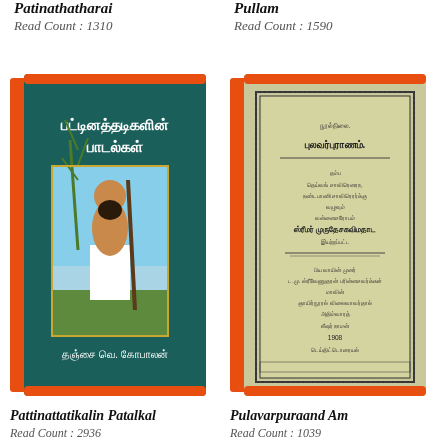Patinathatharai
Read Count : 1310
Pullam
Read Count : 1590
[Figure (illustration): Book cover: Tamil book titled பட்டினத்தடிகளின் பாடல்கள் with teal/dark green background and image of a Tamil saint figure holding a staff, author தஞ்சை வெ. கோபாலன்]
[Figure (illustration): Book cover: Tamil book titled புலவர்புராணம் with orange spine and beige/cream cover showing old Tamil manuscript-style title page with decorative border]
Pattinattatikalin Patalkal
Read Count : 2936
Pulavarpuraand Am
Read Count : 1039